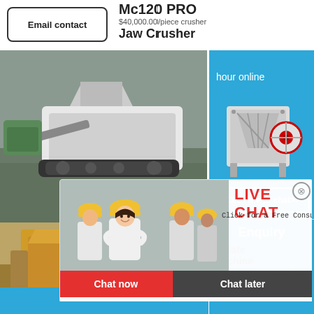Email contact
Mc120 PRO
$40,000.00/piece crusher
Jaw Crusher
[Figure (photo): Mobile jaw crusher machine on a construction/mining site, tracked vehicle, aerial/side view]
[Figure (photo): Large yellow industrial crusher/processing plant at a quarry site]
[Figure (infographic): Live chat popup overlay with workers in yellow hard hats, red LIVE CHAT heading, 'Click for a Free Consultation' text, red 'Chat now' button and dark grey 'Chat later' button]
LIVE CHAT
Click for a Free Consultation
Chat now
Chat later
hour online
Click me to chat>>
Enquiry
mumumugoods
Plate
Machine
Henan